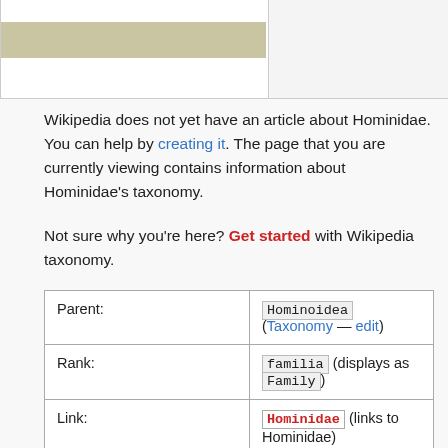[Figure (other): Top panel with olive/tan colored bar inside a white bordered box]
Wikipedia does not yet have an article about Hominidae. You can help by creating it. The page that you are currently viewing contains information about Hominidae's taxonomy.
Not sure why you're here? Get started with Wikipedia taxonomy.
|  |  |
| --- | --- |
| Parent: | Hominoidea (Taxonomy — edit) |
| Rank: | familia (displays as Family) |
| Link: | Hominidae (links to Hominidae) |
| Extinct: | no. |